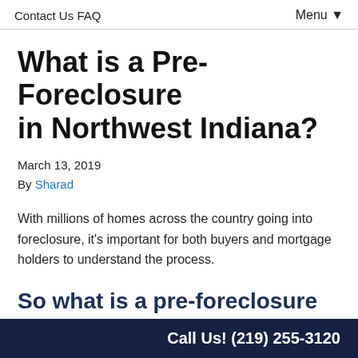Contact Us  FAQ  Menu ▼
What is a Pre-Foreclosure in Northwest Indiana?
March 13, 2019
By Sharad
With millions of homes across the country going into foreclosure, it's important for both buyers and mortgage holders to understand the process.
So what is a pre-foreclosure in Northwest Indiana anyway?
Call Us! (219) 255-3120